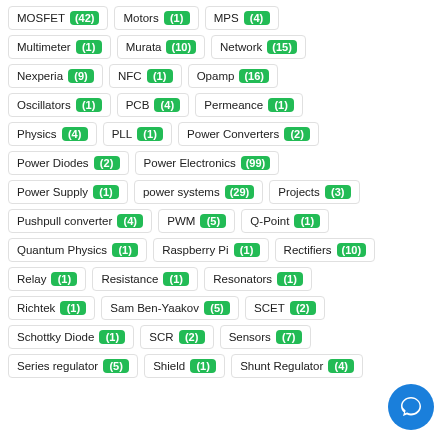MOSFET (42)  Motors (1)  MPS (4)
Multimeter (1)  Murata (10)  Network (15)
Nexperia (9)  NFC (1)  Opamp (16)
Oscillators (1)  PCB (4)  Permeance (1)
Physics (4)  PLL (1)  Power Converters (2)
Power Diodes (2)  Power Electronics (99)
Power Supply (1)  power systems (29)  Projects (3)
Pushpull converter (4)  PWM (5)  Q-Point (1)
Quantum Physics (1)  Raspberry Pi (1)  Rectifiers (10)
Relay (1)  Resistance (1)  Resonators (1)
Richtek (1)  Sam Ben-Yaakov (5)  SCET (2)
Schottky Diode (1)  SCR (2)  Sensors (7)
Series regulator (5)  Shield (1)  Shunt Regulator (4)